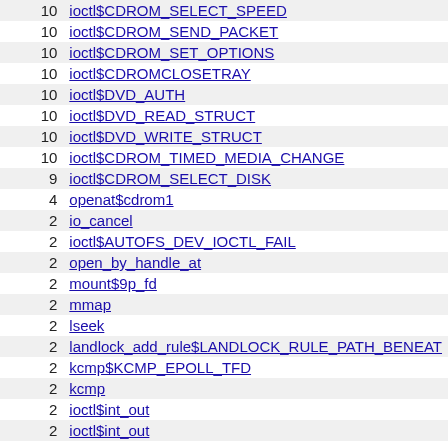| count | syscall |
| --- | --- |
| 10 | ioctl$CDROM_SELECT_SPEED |
| 10 | ioctl$CDROM_SEND_PACKET |
| 10 | ioctl$CDROM_SET_OPTIONS |
| 10 | ioctl$CDROMCLOSETRAY |
| 10 | ioctl$DVD_AUTH |
| 10 | ioctl$DVD_READ_STRUCT |
| 10 | ioctl$DVD_WRITE_STRUCT |
| 10 | ioctl$CDROM_TIMED_MEDIA_CHANGE |
| 9 | ioctl$CDROM_SELECT_DISK |
| 4 | openat$cdrom1 |
| 2 | io_cancel |
| 2 | ioctl$AUTOFS_DEV_IOCTL_FAIL |
| 2 | open_by_handle_at |
| 2 | mount$9p_fd |
| 2 | mmap |
| 2 | lseek |
| 2 | landlock_add_rule$LANDLOCK_RULE_PATH_BENEATH |
| 2 | kcmp$KCMP_EPOLL_TFD |
| 2 | kcmp |
| 2 | ioctl$int_out |
| 2 | ioctl$int_out |